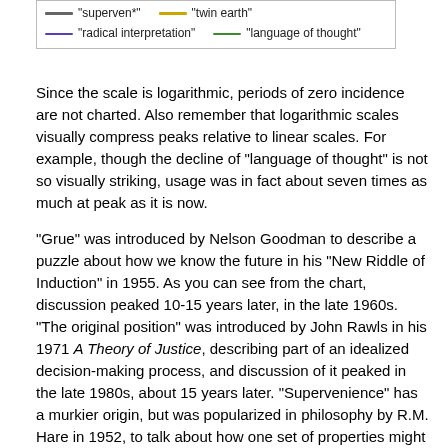[Figure (other): Legend box showing color-coded lines: 'superven*' (gray/dark), 'twin earth' (yellow/gold), 'radical interpretation' (purple), 'language of thought' (green)]
Since the scale is logarithmic, periods of zero incidence are not charted. Also remember that logarithmic scales visually compress peaks relative to linear scales. For example, though the decline of "language of thought" is not so visually striking, usage was in fact about seven times as much at peak as it is now.
"Grue" was introduced by Nelson Goodman to describe a puzzle about how we know the future in his "New Riddle of Induction" in 1955. As you can see from the chart, discussion peaked 10-15 years later, in the late 1960s. "The original position" was introduced by John Rawls in his 1971 A Theory of Justice, describing part of an idealized decision-making process, and discussion of it peaked in the late 1980s, about 15 years later. "Supervenience" has a murkier origin, but was popularized in philosophy by R.M. Hare in 1952, to talk about how one set of properties might covary with another (for example the moral and the physical). Discussion peaked about 40 years later in the early 1990s. Hilary Putnam introduced "Twin Earth" (a planet with XYZ instead of water) in a thought experiment in 1975, and discussion peaked 15-20 years later in the early 1990s. "Radical interpretation" was introduced by Donald Davidson in the early 1970s, peaking 15 years later in the late 1980s. Finally, the "language of thought" was introduced by Jerry Fodor in his 1975 book of the same title, peaking 15-20 years later in the early 1990s.